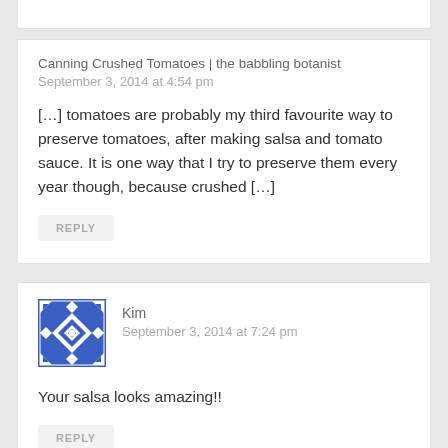Canning Crushed Tomatoes | the babbling botanist
September 3, 2014 at 4:54 pm
[…] tomatoes are probably my third favourite way to preserve tomatoes, after making salsa and tomato sauce. It is one way that I try to preserve them every year though, because crushed […]
REPLY
[Figure (illustration): Blue and white decorative square avatar icon with geometric/floral pattern]
Kim
September 3, 2014 at 7:24 pm
Your salsa looks amazing!!
REPLY